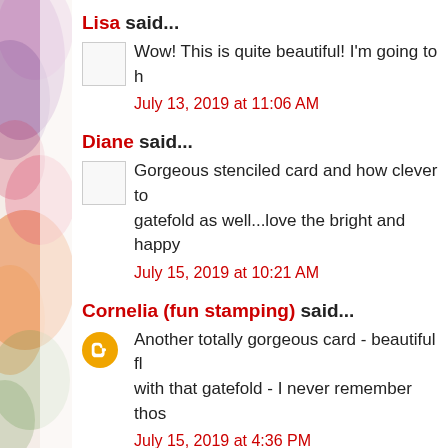[Figure (illustration): Decorative watercolor floral image strip on the left edge of the page]
Lisa said...
Wow! This is quite beautiful! I'm going to h
July 13, 2019 at 11:06 AM
Diane said...
Gorgeous stenciled card and how clever to gatefold as well...love the bright and happy
July 15, 2019 at 10:21 AM
Cornelia (fun stamping) said...
Another totally gorgeous card - beautiful fl with that gatefold - I never remember thos
July 15, 2019 at 4:36 PM